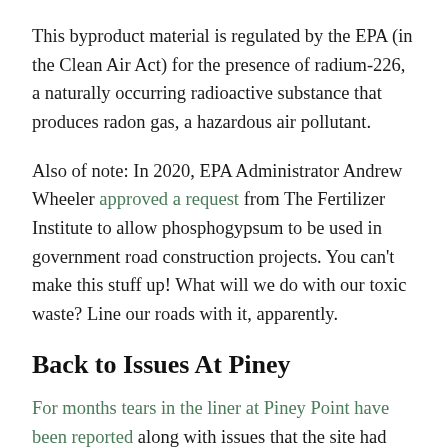This byproduct material is regulated by the EPA (in the Clean Air Act) for the presence of radium-226, a naturally occurring radioactive substance that produces radon gas, a hazardous air pollutant.
Also of note: In 2020, EPA Administrator Andrew Wheeler approved a request from The Fertilizer Institute to allow phosphogypsum to be used in government road construction projects. You can’t make this stuff up! What will we do with our toxic waste? Line our roads with it, apparently.
Back to Issues At Piney
For months tears in the liner at Piney Point have been reported along with issues that the site had reached capacity, sparking concerns that the stacks could